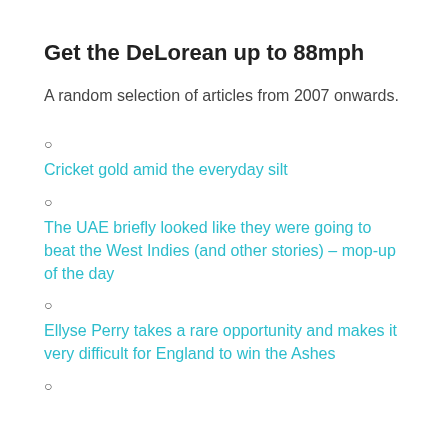Get the DeLorean up to 88mph
A random selection of articles from 2007 onwards.
Cricket gold amid the everyday silt
The UAE briefly looked like they were going to beat the West Indies (and other stories) – mop-up of the day
Ellyse Perry takes a rare opportunity and makes it very difficult for England to win the Ashes